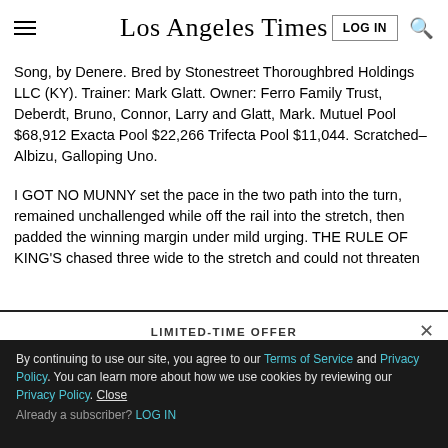Los Angeles Times
Song, by Denere. Bred by Stonestreet Thoroughbred Holdings LLC (KY). Trainer: Mark Glatt. Owner: Ferro Family Trust, Deberdt, Bruno, Connor, Larry and Glatt, Mark. Mutuel Pool $68,912 Exacta Pool $22,266 Trifecta Pool $11,044. Scratched–Albizu, Galloping Uno.
I GOT NO MUNNY set the pace in the two path into the turn, remained unchallenged while off the rail into the stretch, then padded the winning margin under mild urging. THE RULE OF KING'S chased three wide to the stretch and could not threaten
LIMITED-TIME OFFER
$1 for 6 Months
SUBSCRIBE NOW
By continuing to use our site, you agree to our Terms of Service and Privacy Policy. You can learn more about how we use cookies by reviewing our Privacy Policy. Close
Already a subscriber? LOG IN